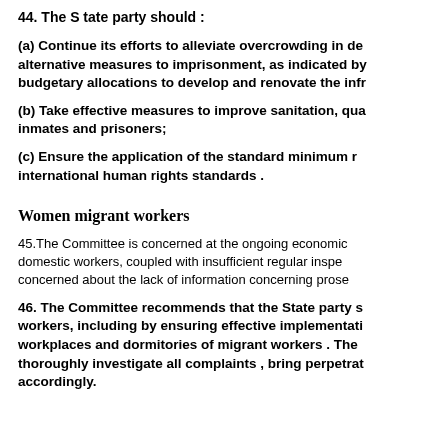44. The S tate party should :
(a) Continue its efforts to alleviate overcrowding in de alternative measures to imprisonment, as indicated by budgetary allocations to develop and renovate the infr
(b) Take effective measures to improve sanitation, qua inmates and prisoners;
(c) Ensure the application of the standard minimum r international human rights standards .
Women migrant workers
45.The Committee is concerned at the ongoing economic domestic workers, coupled with insufficient regular inspe concerned about the lack of information concerning prose
46. The Committee recommends that the State party s workers, including by ensuring effective implementati workplaces and dormitories of migrant workers . The thoroughly investigate all complaints , bring perpetrat accordingly.